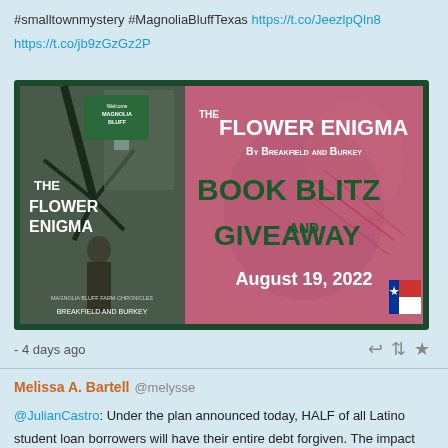#smalltownmystery #MagnoliaBluffTexas https://t.co/JeezlpQIn8
https://t.co/jb9zGzGz2P
[Figure (illustration): Book promotional banner for 'The Flower Enigma' by Breakfield and Burkey. Left side shows book cover with woman and tree silhouette. Right side is pink/rose background with text: THE FLOWER ENIGMA, By Breakfield and Burkey, BOOK BLITZ AND GIVEAWAY, August 19, 2022. Dark green border around entire image.]
- 4 days ago
Melissa A. Bartell @melysse
@JulianCastro: Under the plan announced today, HALF of all Latino student loan borrowers will have their entire debt forgiven. The impact this will have on millions of first and second generation families is